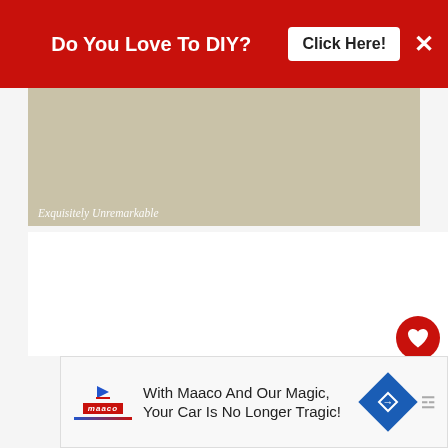Do You Love To DIY?  Click Here!  ×
[Figure (photo): Beige/tan wall photo with italic watermark text 'Exquisitely Unremarkable' in white]
[Figure (screenshot): White content area with heart (favorite) and share action buttons on right side, and 'WHAT'S NEXT → Tulle Easter Carrot Garland' panel at bottom right]
WHAT'S NEXT → Tulle Easter Carrot Garland
With Maaco And Our Magic, Your Car Is No Longer Tragic!